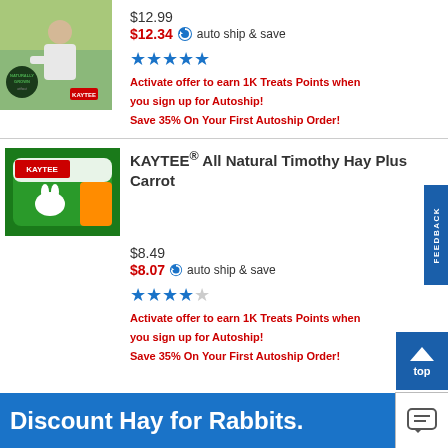[Figure (photo): Man in field harvesting hay with Kaytee 'Naturally Grown' badge overlay]
$12.99
$12.34 auto ship & save
★★★★★
Activate offer to earn 1K Treats Points when you sign up for Autoship!
Save 35% On Your First Autoship Order!
KAYTEE® All Natural Timothy Hay Plus Carrot
[Figure (photo): Kaytee Timothy Hay Plus Carrot product bag]
$8.49
$8.07 auto ship & save
★★★★☆
Activate offer to earn 1K Treats Points when you sign up for Autoship!
Save 35% On Your First Autoship Order!
Discount Hay for Rabbits.